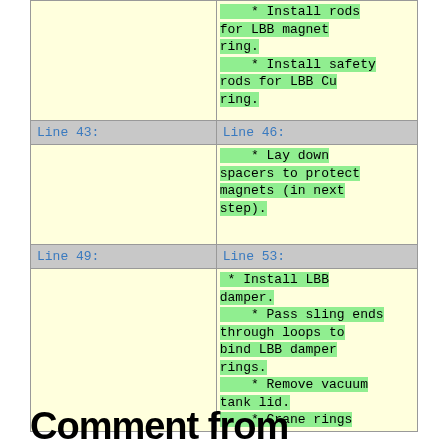| Line 43: | Line 46: |
| --- | --- |
|  |     * Lay down spacers to protect magnets (in next step). |
| Line 49: | Line 53: |
|  |  * Install LBB damper.
    * Pass sling ends through loops to bind LBB damper rings.
    * Remove vacuum tank lid.
    * Crane rings |
Comment from